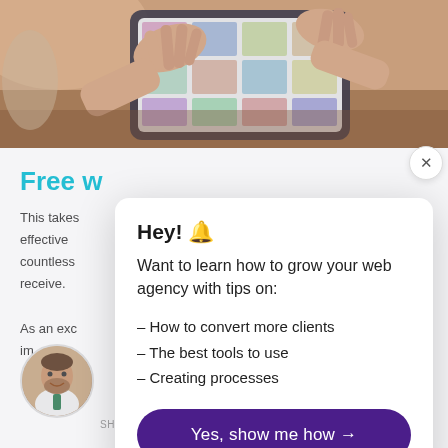[Figure (photo): Hands using a tablet/touchscreen device on a wooden table, browsing a photo grid app]
Free w
This takes
effective
countless
receive.

As an exc
im   ver
[Figure (photo): Circular avatar photo of a man with a beard wearing a white shirt and green tie]
Hey! 🔔

Want to learn how to grow your web agency with tips on:

- How to convert more clients
- The best tools to use
- Creating processes

Yes, show me how →